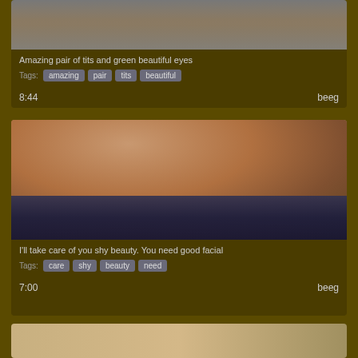[Figure (screenshot): Thumbnail image of a person, partial view from torso, card 1]
Amazing pair of tits and green beautiful eyes
Tags: amazing pair tits beautiful
8:44   beeg
[Figure (screenshot): Thumbnail image showing closeup of torso with patterned skirt, card 2]
I'll take care of you shy beauty. You need good facial
Tags: care shy beauty need
7:00   beeg
[Figure (screenshot): Partial thumbnail of card 3, cropped at bottom]